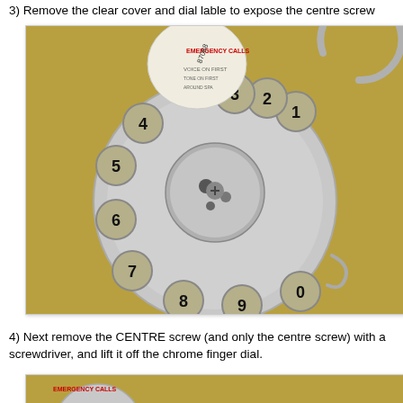3) Remove the clear cover and dial lable to expose the centre screw
[Figure (photo): A disassembled rotary telephone dial showing the chrome finger dial with numbered holes (1-0), a removed clear cover, and a circular metal retaining ring, photographed on a yellow-brown fabric surface.]
4) Next remove the CENTRE screw (and only the centre screw) with a screwdriver, and lift it off the chrome finger dial.
[Figure (photo): Partial view of a rotary telephone dial component, beginning of next step illustration.]